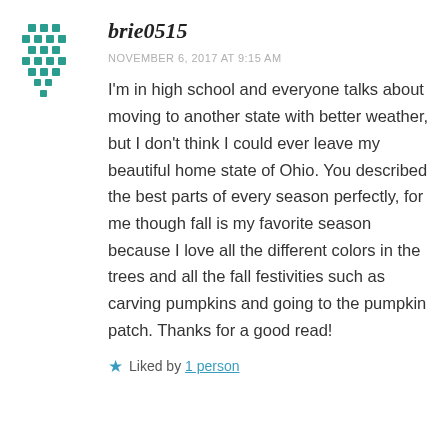[Figure (illustration): Teal decorative avatar icon with diamond/cross pattern grid]
brie0515
NOVEMBER 6, 2017 AT 9:15 AM
I'm in high school and everyone talks about moving to another state with better weather, but I don't think I could ever leave my beautiful home state of Ohio. You described the best parts of every season perfectly, for me though fall is my favorite season because I love all the different colors in the trees and all the fall festivities such as carving pumpkins and going to the pumpkin patch. Thanks for a good read!
★ Liked by 1 person